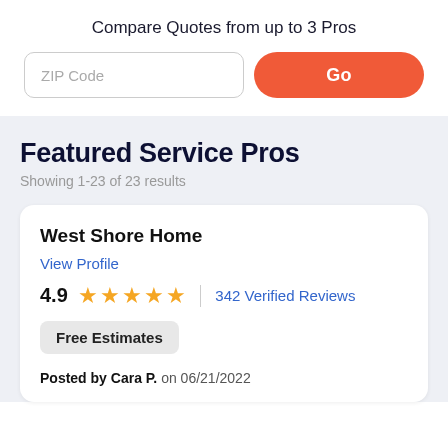Compare Quotes from up to 3 Pros
[Figure (screenshot): ZIP Code input field and Go button for quote comparison]
Featured Service Pros
Showing 1-23 of 23 results
West Shore Home
View Profile
4.9  ★★★★★  342 Verified Reviews
Free Estimates
Posted by Cara P. on 06/21/2022